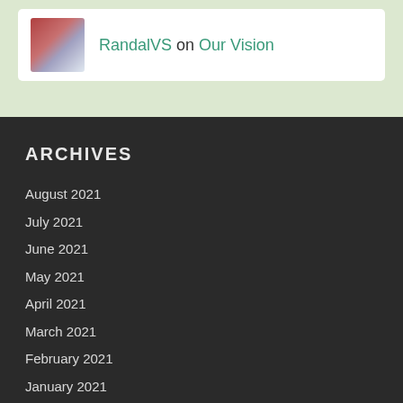RandalVS on Our Vision
ARCHIVES
August 2021
July 2021
June 2021
May 2021
April 2021
March 2021
February 2021
January 2021
December 2020